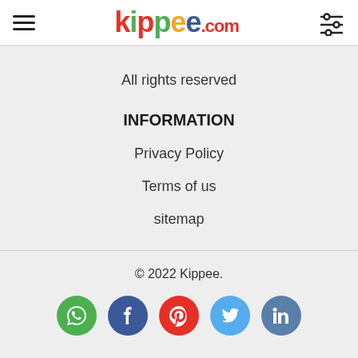kippee.com — navigation header
All rights reserved
INFORMATION
Privacy Policy
Terms of us
sitemap
© 2022 Kippee.
[Figure (infographic): Social media icons: WhatsApp, Facebook, Pinterest, Twitter, LinkedIn]